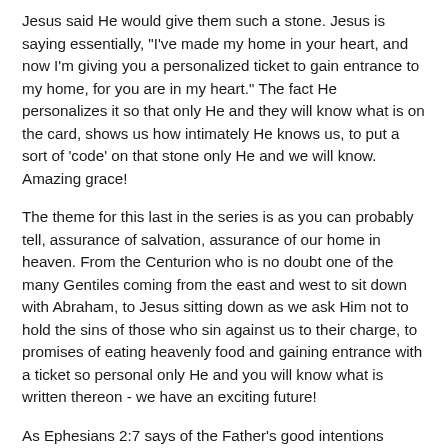Jesus said He would give them such a stone. Jesus is saying essentially, "I've made my home in your heart, and now I'm giving you a personalized ticket to gain entrance to my home, for you are in my heart." The fact He personalizes it so that only He and they will know what is on the card, shows us how intimately He knows us, to put a sort of 'code' on that stone only He and we will know. Amazing grace!
The theme for this last in the series is as you can probably tell, assurance of salvation, assurance of our home in heaven. From the Centurion who is no doubt one of the many Gentiles coming from the east and west to sit down with Abraham, to Jesus sitting down as we ask Him not to hold the sins of those who sin against us to their charge, to promises of eating heavenly food and gaining entrance with a ticket so personal only He and you will know what is written thereon - we have an exciting future!
As Ephesians 2:7 says of the Father's good intentions towards us: "That in the ages to come He will clearly show the immeasurable and unsurpassable riches of His grace in His kindness toward us in Christ Jesus."